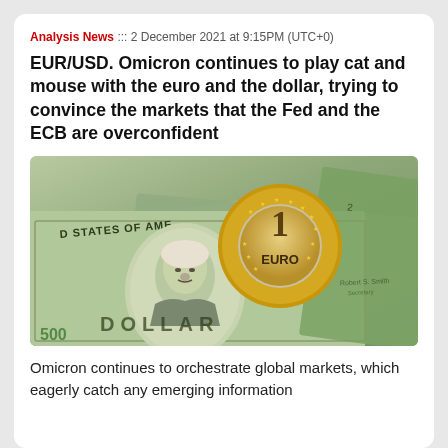Analysis News ::: 2 December 2021 at 9:15PM (UTC+0)
EUR/USD. Omicron continues to play cat and mouse with the euro and the dollar, trying to convince the markets that the Fed and the ECB are overconfident
[Figure (photo): A 1 Euro coin resting on US dollar bills, showing George Washington's portrait and text 'STATES OF AMERICA' and 'DOLLAR']
Omicron continues to orchestrate global markets, which eagerly catch any emerging information